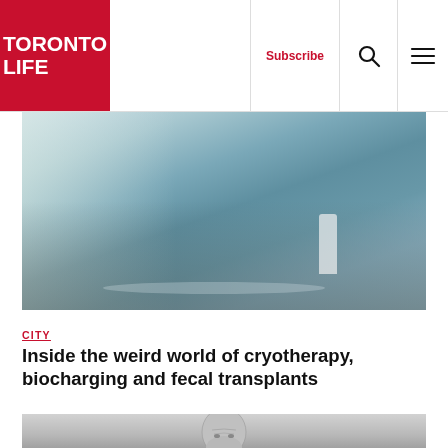TORONTO LIFE — Subscribe | Search | Menu
[Figure (photo): People lying on yoga mats on the floor in a bright studio with large windows, with an instructor standing over them in a white shirt and blue jeans]
CITY
Inside the weird world of cryotherapy, biocharging and fecal transplants
[Figure (photo): Black and white portrait photo of a bald man looking at the camera, partially cropped at the bottom of the page]